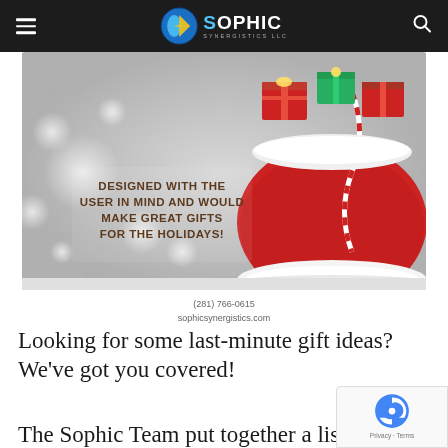SOPHIC SYNERGISTICS LLC — navigation bar with hamburger menu and search icon
[Figure (photo): Holiday gift promotional image with Santa's red sack filled with wrapped presents on a snowy bokeh background. Text overlay reads: 'DESIGNED WITH THE USER IN MIND AND WOULD MAKE GREAT GIFTS FOR THE HOLIDAYS!' with contact info (281) 766-0615 and sophicsynergistics.com]
(281) 766-0615
sophicsynergistics.com
Looking for some last-minute gift ideas? We've got you covered!
The Sophic Team put together a list of